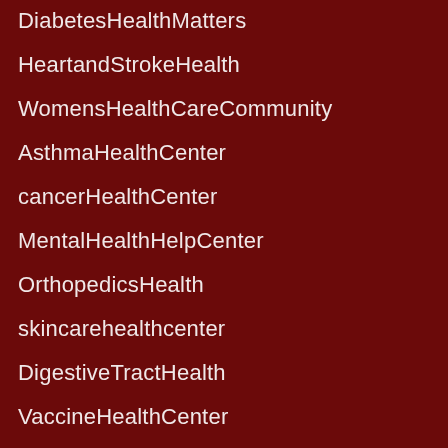DiabetesHealthMatters
HeartandStrokeHealth
WomensHealthCareCommunity
AsthmaHealthCenter
cancerHealthCenter
MentalHealthHelpCenter
OrthopedicsHealth
skincarehealthcenter
DigestiveTractHealth
VaccineHealthCenter
painHealthCenter
FightingAddictionCenter
ObesityHealthMatters